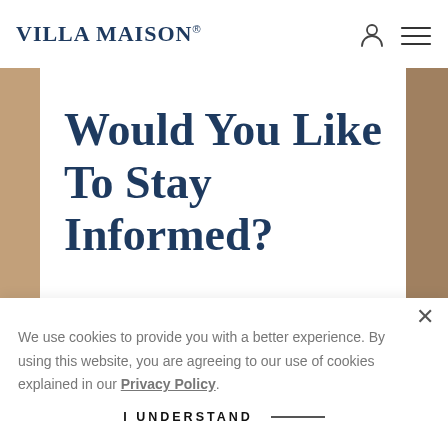Villa Maison
Would You Like To Stay Informed?
We use cookies to provide you with a better experience. By using this website, you are agreeing to our use of cookies explained in our Privacy Policy.
I UNDERSTAND